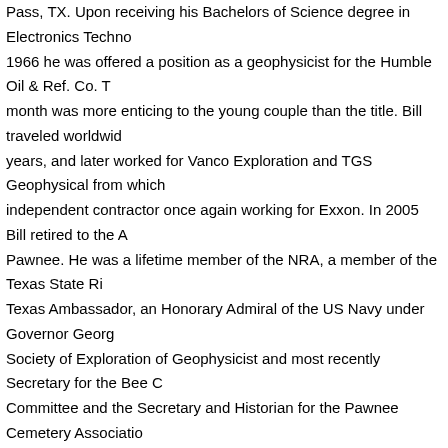Pass, TX.  Upon receiving his Bachelors of Science degree in Electronics Techno... 1966 he was offered a position as a geophysicist for the Humble Oil & Ref. Co.  T... month was more enticing to the young couple than the title.  Bill traveled worldwid... years, and later worked for Vanco Exploration and TGS Geophysical from  which... independent contractor once again working for Exxon. In 2005 Bill retired to the A... Pawnee.  He was a lifetime member of the NRA, a member of the Texas State Ri... Texas Ambassador, an Honorary Admiral of the US Navy under Governor  Georg... Society of Exploration of Geophysicist and most recently Secretary for the Bee C... Committee and the Secretary and Historian for the Pawnee Cemetery Associatio... friends around the world in the oil and gas industry and the U. S. Military. He will
He is preceded in death by his parents Ned. M and Faye McCarn Allen and his in... Luna May Duckworth Pogue.
He is survived by his loving wife Nancy Pogue Allen;  daughter, Renee Allen Pow... Allen and wife Nancy;  sister, Patricia Allen; grandchildren, Ariane Powell, Taylor A... Mackenzie Allen, and Riley Allen.
Family Visitation will be held Wednesday, July 15, 2015 from 5PM to 7PM in the ... Chapel.  Services will be Thursday, July 16, 2015 at 10AM in the Eckols Funeral